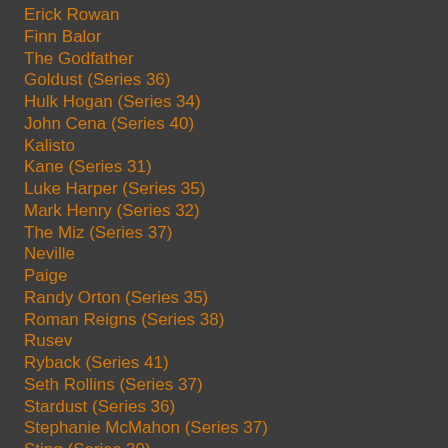Erick Rowan
Finn Balor
The Godfather
Goldust (Series 36)
Hulk Hogan (Series 34)
John Cena (Series 40)
Kalisto
Kane (Series 31)
Luke Harper (Series 35)
Mark Henry (Series 32)
The Miz (Series 37)
Neville
Paige
Randy Orton (Series 35)
Roman Reigns (Series 38)
Rusev
Ryback (Series 41)
Seth Rollins (Series 37)
Stardust (Series 36)
Stephanie McMahon (Series 37)
Sting (Series 39)
Triple H (Series 35)